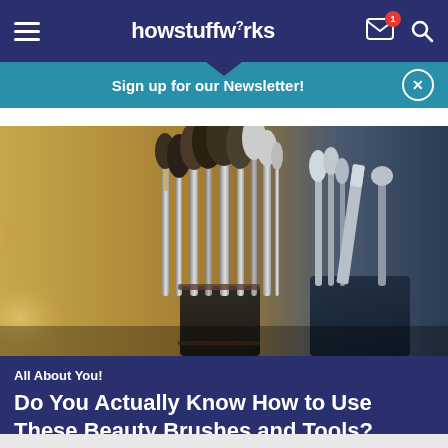howstuffworks
Sign up for our Newsletter!
[Figure (photo): Makeup brushes and tools arranged in containers, sepia and teal toned photograph]
All About You!
Do You Actually Know How to Use These Beauty Brushes and Tools?